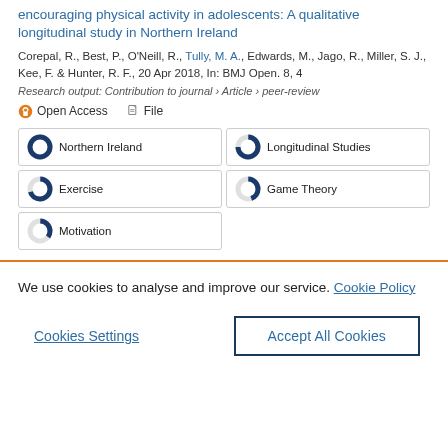encouraging physical activity in adolescents: A qualitative longitudinal study in Northern Ireland
Corepal, R., Best, P., O'Neill, R., Tully, M. A., Edwards, M., Jago, R., Miller, S. J., Kee, F. & Hunter, R. F., 20 Apr 2018, In: BMJ Open. 8, 4
Research output: Contribution to journal › Article › peer-review
Open Access   File
Northern Ireland
Longitudinal Studies
Exercise
Game Theory
Motivation
We use cookies to analyse and improve our service. Cookie Policy
Cookies Settings
Accept All Cookies